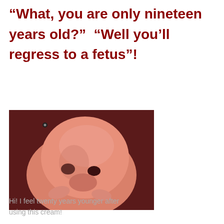“What, you are only nineteen years old?”  “Well you’ll regress to a fetus”!
[Figure (photo): Close-up photo of a human fetus/embryo with a large round head, dark eye sockets, and small limb buds, against a dark reddish-brown background.]
Hi! I feel twenty years younger after using this cream!